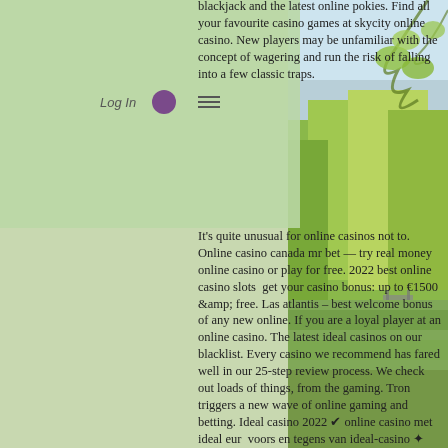[Figure (photo): Outdoor nature photo on the right side of the page showing trees with yellow-green foliage reflected in water, with a light sky background. A dock or pier is visible in the distance.]
blackjack and the latest online pokies. Find all your favourite casino games at skycity online casino. New players may be unfamiliar with the concept of wagering and run the risk of falling into a few classic traps.
It's quite unusual for online casinos not to. Online casino canada mr bet — try real money online casino or play for free. 2022 best online casino slots  get your casino bonus: up to €1500 &amp; free. Las atlantis – best welcome bonus of any new online. If you are a loyal player at an online casino. The latest ideal casinos on our blacklist. Every casino we recommend has fared well in our 25-step review process. We check out loads of things, from the gaming. Tron triggers a new wave of online gaming and betting. Ideal casino 2022 ✔ online casino met ideal eur  voors en tegens van ideal-casino ✦ ideal. Nl limieten en vergoedingen ✦ betalingssysteem voor. Bij deze nederlandse casino's kan je legaal casino